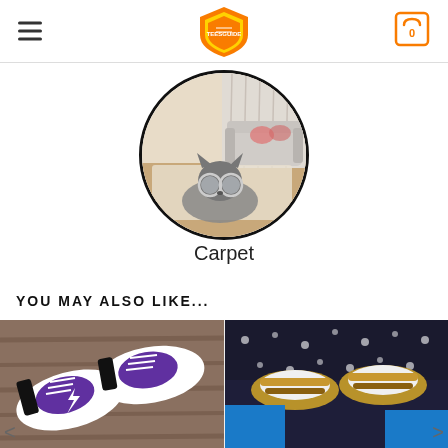TEESGUIDE navigation header with logo, hamburger menu, and cart icon
[Figure (photo): Circular cropped photo of a cat wearing glasses lying on a carpet, shown in a room setting with sofa and curtains in the background]
Carpet
YOU MAY ALSO LIKE...
[Figure (photo): Product photo of purple and white sneakers/running shoes laid on a wooden surface]
[Figure (photo): Product photo of black and tan sandals/shoes with a polka dot pattern worn by a person in blue shirt]